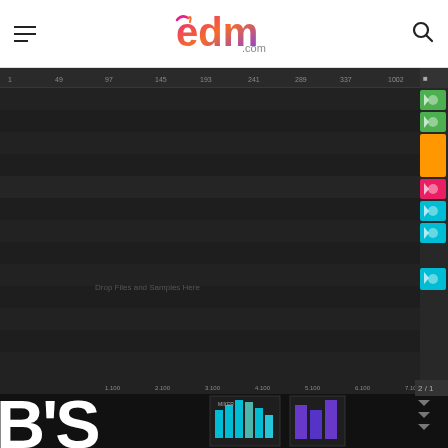EDM.com navigation header with hamburger menu, EDM.com logo, and search icon
[Figure (screenshot): Screenshot of a digital audio workstation (DAW) showing an arrangement/timeline view with multiple colored tracks on the right side, a dark grid area, ruler/timeline at top with bar numbers, and 'Drop Files and Samples Here' placeholder text in the lower left of the timeline area.]
[Figure (screenshot): Partial screenshot at bottom showing another DAW interface with a timeline ruler, some blue/teal UI elements, and large white bold text 'B'S' on a dark background on the left side.]